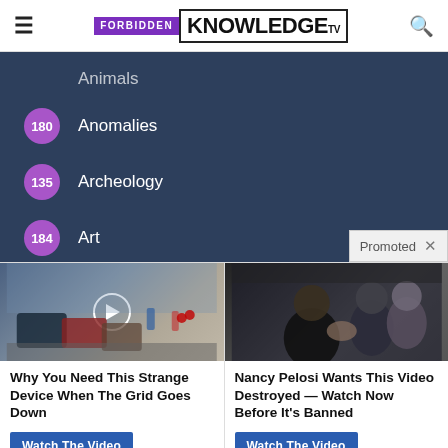FORBIDDEN KNOWLEDGE TV
180 Anomalies
135 Archeology
184 Art
16 Astrology
Promoted
[Figure (photo): Street scene with cars and people, video play button overlay]
Why You Need This Strange Device When The Grid Goes Down
Watch The Video
[Figure (photo): Nancy Pelosi, Joe Biden and Barack Obama in conversation]
Nancy Pelosi Wants This Video Destroyed — Watch Now Before It's Banned
Watch The Video